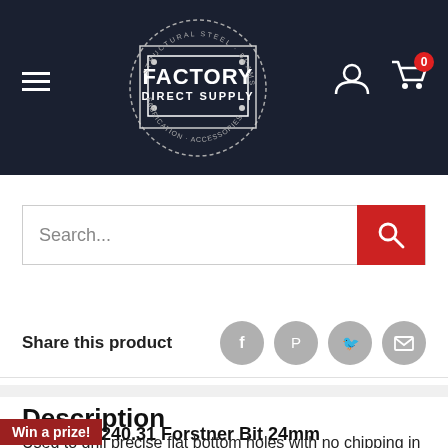Factory Direct Supply — navigation header with logo, hamburger menu, user icon, cart icon (0 items)
Search...
Share this product
Description
CMT 527.240.31 Forstner Bit 24mm
Used to drill precise flat bottom holes with no chipping in any